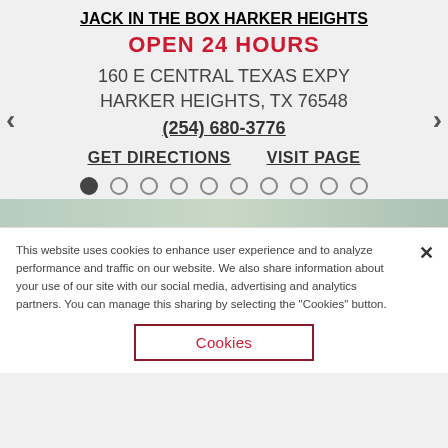JACK IN THE BOX HARKER HEIGHTS
OPEN 24 HOURS
160 E CENTRAL TEXAS EXPY
HARKER HEIGHTS, TX 76548
(254) 680-3776
GET DIRECTIONS   VISIT PAGE
This website uses cookies to enhance user experience and to analyze performance and traffic on our website. We also share information about your use of our site with our social media, advertising and analytics partners. You can manage this sharing by selecting the "Cookies" button.
Cookies